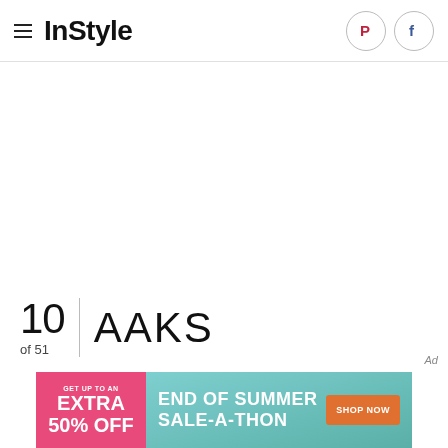InStyle
10 of 51 | AAKS
[Figure (other): Advertisement banner: 'GET UP TO AN EXTRA 50% OFF END OF SUMMER SALE-A-THON SHOP NOW']